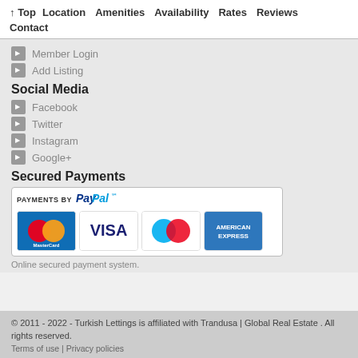↑ Top   Location   Amenities   Availability   Rates   Reviews   Contact
→ Member Login
→ Add Listing
Social Media
→ Facebook
→ Twitter
→ Instagram
→ Google+
Secured Payments
[Figure (infographic): PayPal secured payments box showing MasterCard, Visa, Maestro, and American Express card logos]
Online secured payment system.
© 2011 - 2022 - Turkish Lettings is affiliated with Trandusa | Global Real Estate . All rights reserved.
Terms of use | Privacy policies